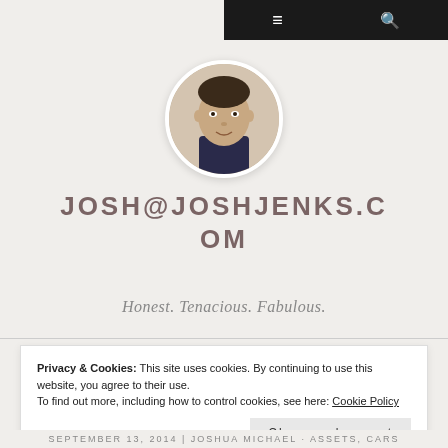≡  🔍
[Figure (photo): Circular profile photo of a man with short hair, wearing a dark patterned shirt, against a white background.]
JOSH@JOSHJENKS.COM
Honest. Tenacious. Fabulous.
Privacy & Cookies: This site uses cookies. By continuing to use this website, you agree to their use. To find out more, including how to control cookies, see here: Cookie Policy
Close and accept
SEPTEMBER 13, 2014 | JOSHUA MICHAEL · ASSETS, CARS